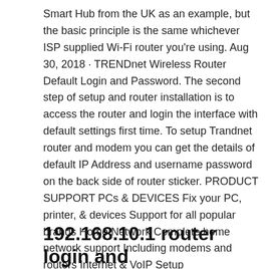Smart Hub from the UK as an example, but the basic principle is the same whichever ISP supplied Wi-Fi router you're using. Aug 30, 2018 · TRENDnet Wireless Router Default Login and Password. The second step of setup and router installation is to access the router and login the interface with default settings first time. To setup Trandnet router and modem you can get the details of default IP Address and username password on the back side of router sticker. PRODUCT SUPPORT PCs & DEVICES Fix your PC, printer, & devices Support for all popular brands Home Network Complete home network support Including modems and routers Internet & VoIP Setup DSL/Broadband/VoIP Enhance performance & security PC Security Prevent viruses, SPAM & malware Microsoft Windows Install & support for Windows 95 & up Popular Software Support for MS Office, Adobe, & many more
192.168.10.1 router login and